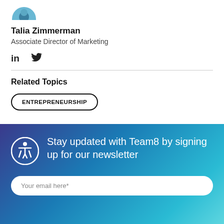[Figure (photo): Partial circular profile photo of Talia Zimmerman, cropped at top]
Talia Zimmerman
Associate Director of Marketing
[Figure (infographic): LinkedIn and Twitter social media icons]
Related Topics
ENTREPRENEURSHIP
Stay updated with Team8 by signing up for our newsletter
Your email here*